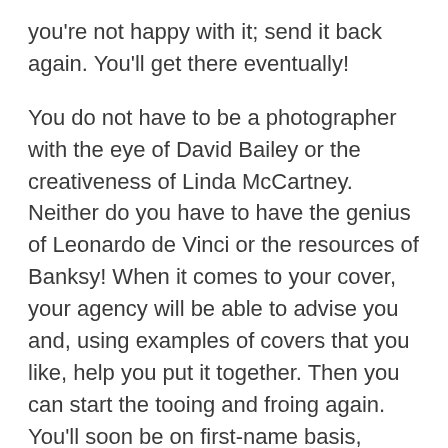you're not happy with it; send it back again. You'll get there eventually!
You do not have to be a photographer with the eye of David Bailey or the creativeness of Linda McCartney. Neither do you have to have the genius of Leonardo de Vinci or the resources of Banksy! When it comes to your cover, your agency will be able to advise you and, using examples of covers that you like, help you put it together. Then you can start the tooing and froing again. You'll soon be on first-name basis, although I can't guarantee you'll make the Christmas Card list.
Type face is the same – pick one you like and leave it up to your agency. It is surprising and reassuring, how many times your agency will be in contact, chasing you for a yay or nay. You could opt for